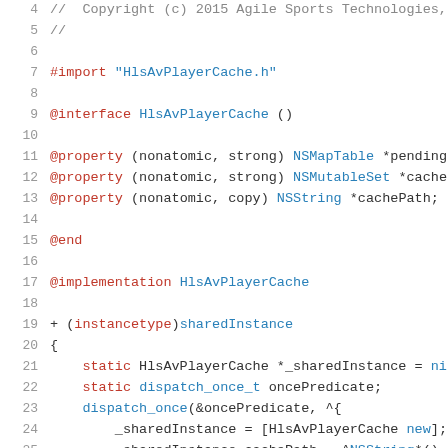[Figure (screenshot): Source code listing in Objective-C showing lines 4-26 of HlsAvPlayerCache implementation file with syntax highlighting. Red keywords for @interface, @property, @end, @implementation, #import, static. Blue for type names like NSMapTable, NSMutableSet, NSString, HlsAvPlayerCache, sharedInstance. Gray line numbers on left.]